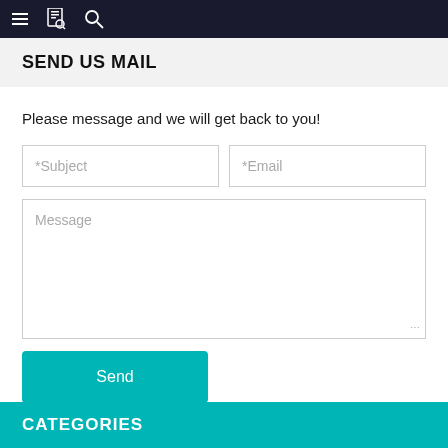Navigation bar with menu, book, and search icons
SEND US MAIL
Please message and we will get back to you!
*Subject
*Email
Message
Send
CATEGORIES